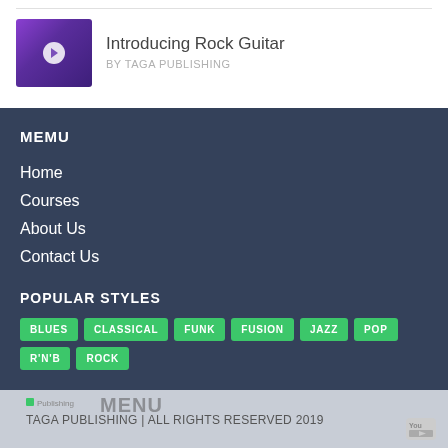[Figure (photo): Thumbnail of a music course, purple stage lighting]
Introducing Rock Guitar
BY TAGA PUBLISHING
MEMU
Home
Courses
About Us
Contact Us
POPULAR STYLES
BLUES
CLASSICAL
FUNK
FUSION
JAZZ
POP
R'N'B
ROCK
TAGA PUBLISHING | ALL RIGHTS RESERVED 2019